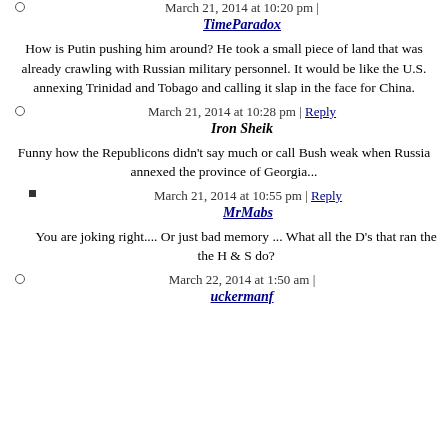March 21, 2014 at 10:20 pm |
TimeParadox
How is Putin pushing him around? He took a small piece of land that was already crawling with Russian military personnel. It would be like the U.S. annexing Trinidad and Tobago and calling it slap in the face for China.
March 21, 2014 at 10:28 pm | Reply
Iron Sheik
Funny how the Republicons didn't say much or call Bush weak when Russia annexed the province of Georgia...
March 21, 2014 at 10:55 pm | Reply
MrMabs
You are joking right.... Or just bad memory ... What all the D's that ran the the H & S do?
March 22, 2014 at 1:50 am |
uckermanf